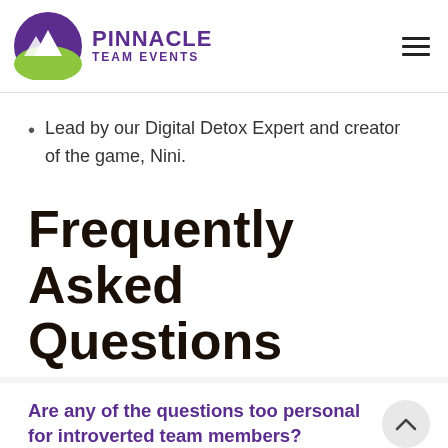PINNACLE TEAM EVENTS
Lead by our Digital Detox Expert and creator of the game, Nini.
Frequently Asked Questions
Are any of the questions too personal for introverted team members?
Our team building facilitator & creator of the game will carefully select only the questions that are fun